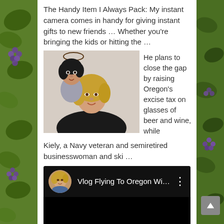The Handy Item I Always Pack: My instant camera comes in handy for giving instant gifts to new friends … Whether you're bringing the kids or hitting the …
[Figure (photo): Photo of a blonde woman with a young dark-haired boy on her back, indoors with a dreamcatcher visible in background.]
He plans to close the gap by raising Oregon's excise tax on glasses of beer and wine, while Kiely, a Navy veteran and semiretired businesswoman and ski …
[Figure (screenshot): YouTube video embed with title 'Vlog Flying To Oregon With T...' showing a dark/black video thumbnail with channel avatar of a blonde woman.]